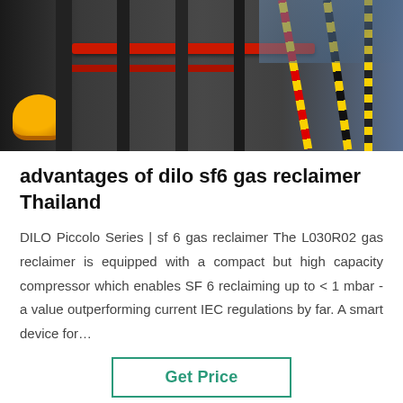[Figure (photo): Industrial facility with pipes, equipment, hard hat visible on left, yellow and red striped barriers on right, dark machinery background]
advantages of dilo sf6 gas reclaimer Thailand
DILO Piccolo Series | sf 6 gas reclaimer The L030R02 gas reclaimer is equipped with a compact but high capacity compressor which enables SF 6 reclaiming up to < 1 mbar - a value outperforming current IEC regulations by far. A smart device for…
Get Price
[Figure (photo): Bottom banner with blue steel background, green scroll-to-top arrow button in top right, customer service avatar in center bottom]
Leave Message
Chat Online